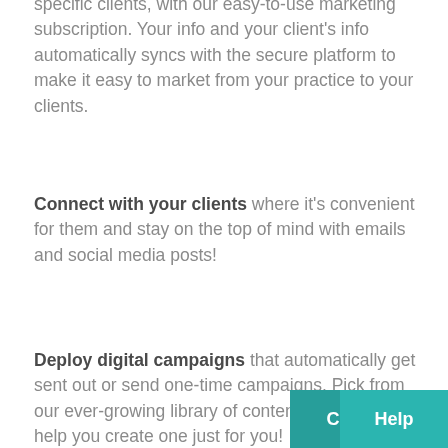Reach all your clients, or target specific clients, with our easy-to-use marketing subscription. Your info and your client's info automatically syncs with the secure platform to make it easy to market from your practice to your clients.
Connect with your clients where it's convenient for them and stay on the top of mind with emails and social media posts!
Deploy digital campaigns that automatically get sent out or send one-time campaigns. Pick from our ever-growing library of content, or we can help you create one just for you!
Get the ultimate performance dashboard for you...